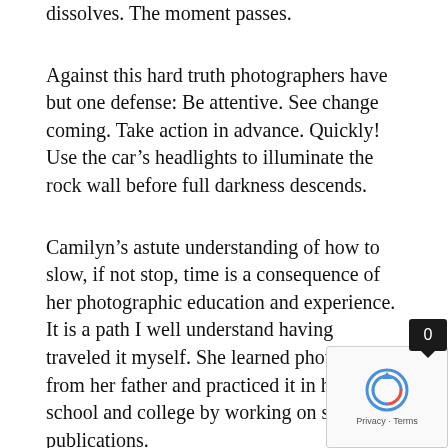dissolves. The moment passes.
Against this hard truth photographers have but one defense: Be attentive. See change coming. Take action in advance. Quickly! Use the car’s headlights to illuminate the rock wall before full darkness descends.
Camilyn’s astute understanding of how to slow, if not stop, time is a consequence of her photographic education and experience. It is a path I well understand having traveled it myself. She learned photography from her father and practiced it in high school and college by working on student publications.
“I carried a huge camera bag with several lenses that I would change out depending on the situation to be photographed. I learned how to develop black and white photos and loved spending hours in the photo lab and